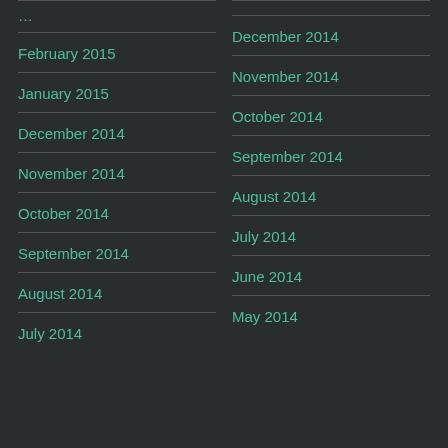February 2015
January 2015
December 2014
November 2014
October 2014
September 2014
August 2014
July 2014
December 2014
November 2014
October 2014
September 2014
August 2014
July 2014
June 2014
May 2014